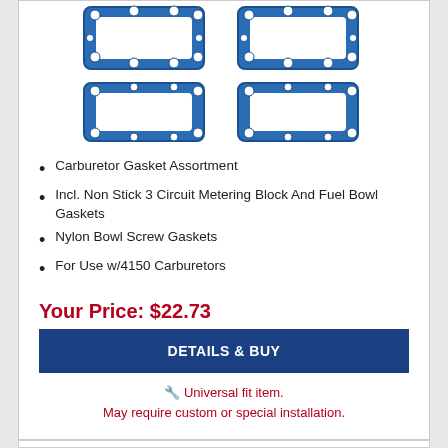[Figure (photo): Four blue carburetor gaskets arranged in a 2x2 grid — two rectangular with cutouts on top row, two plain rectangular frames on bottom row]
Carburetor Gasket Assortment
Incl. Non Stick 3 Circuit Metering Block And Fuel Bowl Gaskets
Nylon Bowl Screw Gaskets
For Use w/4150 Carburetors
Your Price: $22.73
DETAILS & BUY
🔧 Universal fit item. May require custom or special installation.